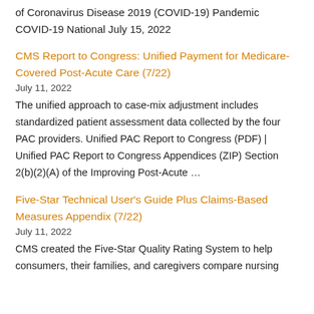of Coronavirus Disease 2019 (COVID-19) Pandemic COVID-19 National July 15, 2022
CMS Report to Congress: Unified Payment for Medicare-Covered Post-Acute Care (7/22)
July 11, 2022
The unified approach to case-mix adjustment includes standardized patient assessment data collected by the four PAC providers. Unified PAC Report to Congress (PDF) | Unified PAC Report to Congress Appendices (ZIP) Section 2(b)(2)(A) of the Improving Post-Acute …
Five-Star Technical User's Guide Plus Claims-Based Measures Appendix (7/22)
July 11, 2022
CMS created the Five-Star Quality Rating System to help consumers, their families, and caregivers compare nursing